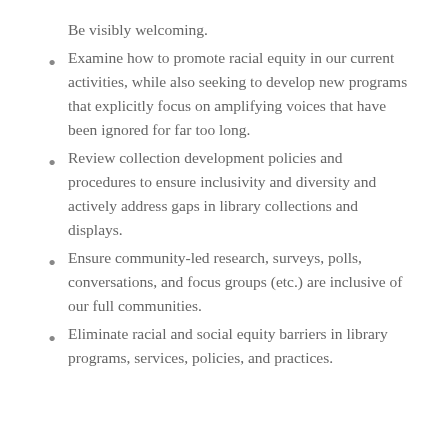Be visibly welcoming.
Examine how to promote racial equity in our current activities, while also seeking to develop new programs that explicitly focus on amplifying voices that have been ignored for far too long.
Review collection development policies and procedures to ensure inclusivity and diversity and actively address gaps in library collections and displays.
Ensure community-led research, surveys, polls, conversations, and focus groups (etc.) are inclusive of our full communities.
Eliminate racial and social equity barriers in library programs, services, policies, and practices.